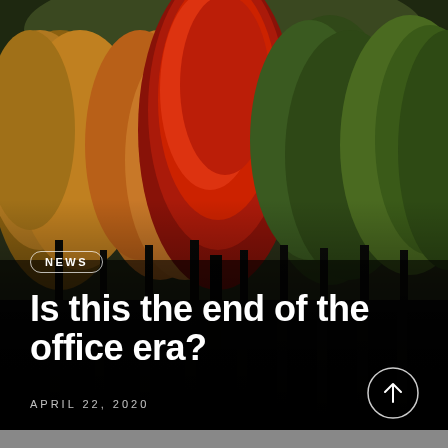[Figure (photo): Autumn forest scene with colorful trees — red, orange, and green — against a dark forested hillside background]
NEWS
Is this the end of the office era?
APRIL 22, 2020